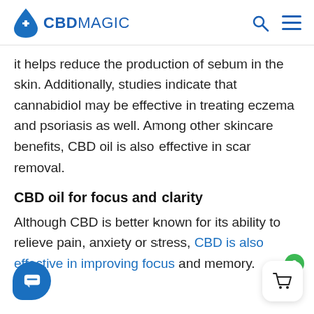CBD MAGIC
it helps reduce the production of sebum in the skin. Additionally, studies indicate that cannabidiol may be effective in treating eczema and psoriasis as well. Among other skincare benefits, CBD oil is also effective in scar removal.
CBD oil for focus and clarity
Although CBD is better known for its ability to relieve pain, anxiety or stress, CBD is also effective in improving focus and memory.